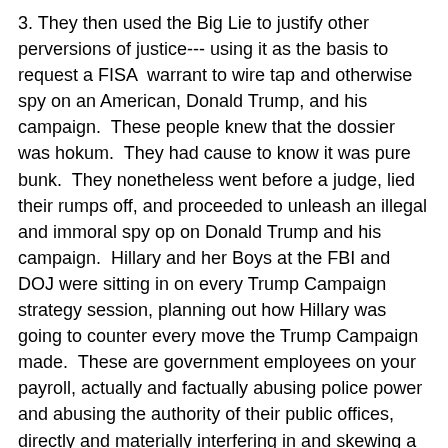3. They then used the Big Lie to justify other perversions of justice--- using it as the basis to request a FISA warrant to wire tap and otherwise spy on an American, Donald Trump, and his campaign. These people knew that the dossier was hokum. They had cause to know it was pure bunk. They nonetheless went before a judge, lied their rumps off, and proceeded to unleash an illegal and immoral spy op on Donald Trump and his campaign. Hillary and her Boys at the FBI and DOJ were sitting in on every Trump Campaign strategy session, planning out how Hillary was going to counter every move the Trump Campaign made. These are government employees on your payroll, actually and factually abusing police power and abusing the authority of their public offices, directly and materially interfering in and skewing a presidential election right in front of your faces. Please notice that all of this is being accomplished via the use of what? Lies.
4. Notice also that the effect of the Big Lie was multiplied because confirmation of it was coming from people in positions of authority and respect---- the FBI and DOJ. I